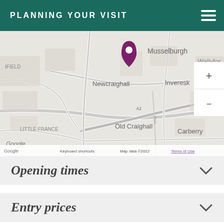PLANNING YOUR VISIT
[Figure (map): Google Maps screenshot showing Newcraighall area near Edinburgh, Scotland. A purple location pin is visible. Nearby labels include Musselburgh, Wallyford, Inveresk, Old Craighall, Carberry, Little France, Danderhall. Road A1 is visible. Map controls showing + and - buttons. Footer shows: Keyboard shortcuts, Map data ©2022, Terms of Use.]
Opening times
Entry prices